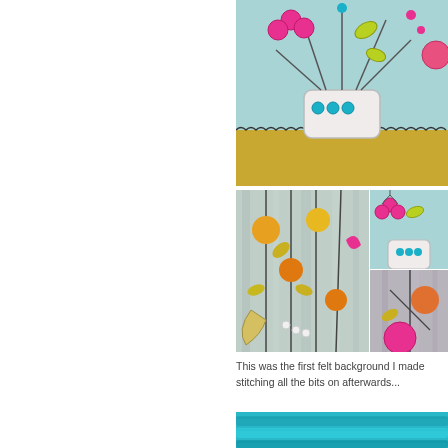[Figure (photo): Textile/embroidery artwork showing a white vase with colorful felt flowers and hand-stitching on a light blue and mustard yellow background]
[Figure (photo): Close-up of stitched fabric with yellow, orange and pink flowers on a light blue-grey background]
[Figure (photo): Close-up of embroidered vase with pink cherries and teal dots on light blue fabric]
[Figure (photo): Close-up of stitched fabric with orange flowers and leaves on grey fabric]
This was the first felt background I made stitching all the bits on afterwards...
[Figure (photo): Strips of teal/turquoise felt laid out on white surface]